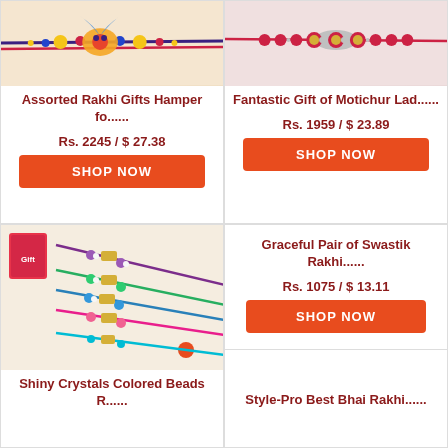[Figure (photo): Rakhi with colorful beads and decorative elements on a thread]
Assorted Rakhi Gifts Hamper fo......
Rs. 2245 / $ 27.38
SHOP NOW
[Figure (photo): Fancy rakhi with pink/red and silver beads]
Fantastic Gift of Motichur Lad......
Rs. 1959 / $ 23.89
SHOP NOW
[Figure (photo): Shiny crystals colored beads rakhis in multiple colors with a gift box]
Shiny Crystals Colored Beads R......
Graceful Pair of Swastik Rakhi......
Rs. 1075 / $ 13.11
SHOP NOW
Style-Pro Best Bhai Rakhi......